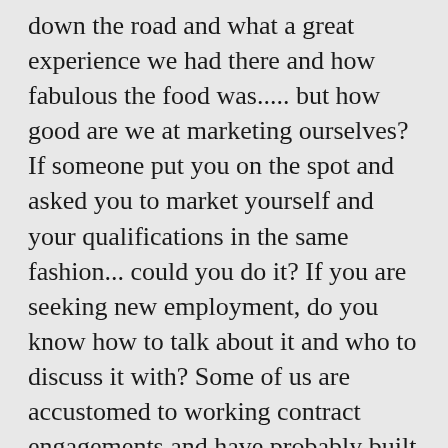down the road and what a great experience we had there and how fabulous the food was..... but how good are we at marketing ourselves? If someone put you on the spot and asked you to market yourself and your qualifications in the same fashion... could you do it?  If you are seeking new employment, do you know how to talk about it and who to discuss it with? Some of us are accustomed to working contract engagements and have probably built a strong network of people that can be contacted and networked with each time we are seeking a new gig.  Other professionals have spent years working with the same employer and might not readily know who in their list of contacts can assist them in finding a new position.
Lets start with the basics and assume you are